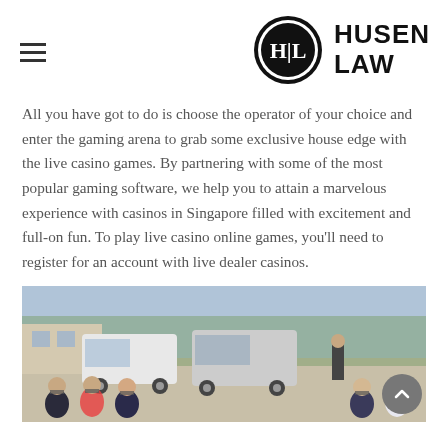Husen Law (logo)
All you have got to do is choose the operator of your choice and enter the gaming arena to grab some exclusive house edge with the live casino games. By partnering with some of the most popular gaming software, we help you to attain a marvelous experience with casinos in Singapore filled with excitement and full-on fun. To play live casino online games, you'll need to register for an account with live dealer casinos.
[Figure (photo): People wearing face masks sitting on chairs outdoors in a parking area with vans and buildings in the background.]